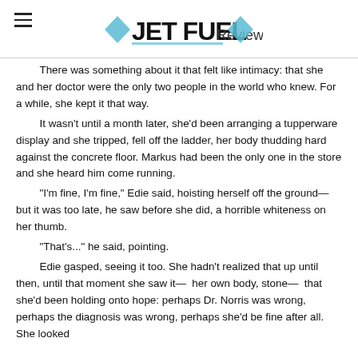JET FUEL Review
There was something about it that felt like intimacy: that she and her doctor were the only two people in the world who knew. For a while, she kept it that way.

It wasn't until a month later, she'd been arranging a tupperware display and she tripped, fell off the ladder, her body thudding hard against the concrete floor. Markus had been the only one in the store and she heard him come running.

"I'm fine, I'm fine," Edie said, hoisting herself off the ground— but it was too late, he saw before she did, a horrible whiteness on her thumb.

"That's..." he said, pointing.

Edie gasped, seeing it too. She hadn't realized that up until then, until that moment she saw it—  her own body, stone—  that she'd been holding onto hope: perhaps Dr. Norris was wrong, perhaps the diagnosis was wrong, perhaps she'd be fine after all. She looked